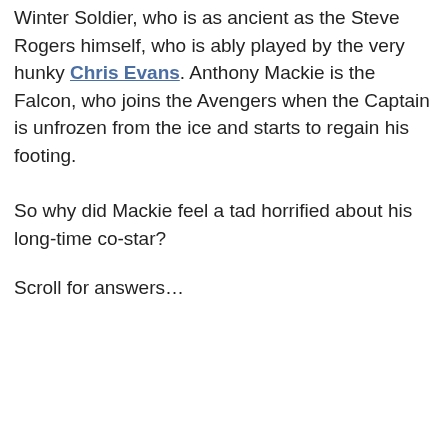Winter Soldier, who is as ancient as the Steve Rogers himself, who is ably played by the very hunky Chris Evans. Anthony Mackie is the Falcon, who joins the Avengers when the Captain is unfrozen from the ice and starts to regain his footing.
So why did Mackie feel a tad horrified about his long-time co-star?
Scroll for answers…